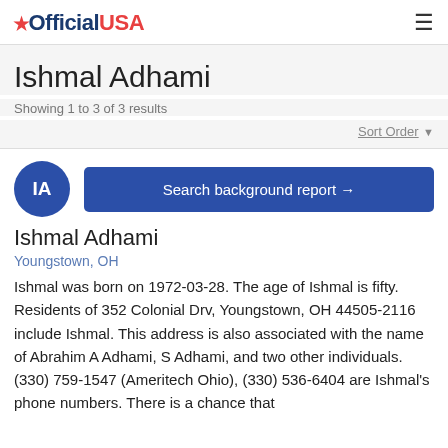OfficialUSA
Ishmal Adhami
Showing 1 to 3 of 3 results
Sort Order
[Figure (other): Avatar circle with initials IA in dark blue]
Search background report →
Ishmal Adhami
Youngstown, OH
Ishmal was born on 1972-03-28. The age of Ishmal is fifty. Residents of 352 Colonial Drv, Youngstown, OH 44505-2116 include Ishmal. This address is also associated with the name of Abrahim A Adhami, S Adhami, and two other individuals. (330) 759-1547 (Ameritech Ohio), (330) 536-6404 are Ishmal's phone numbers. There is a chance that